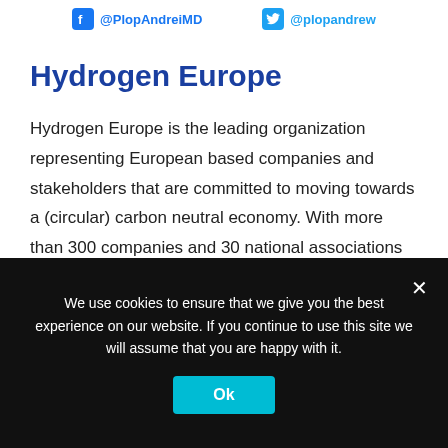@PlopAndreiMD  @plopandrew
Hydrogen Europe
Hydrogen Europe is the leading organization representing European based companies and stakeholders that are committed to moving towards a (circular) carbon neutral economy. With more than 300 companies and 30 national associations as members, we encompass the entire value chain of the European hydrogen
We use cookies to ensure that we give you the best experience on our website. If you continue to use this site we will assume that you are happy with it.